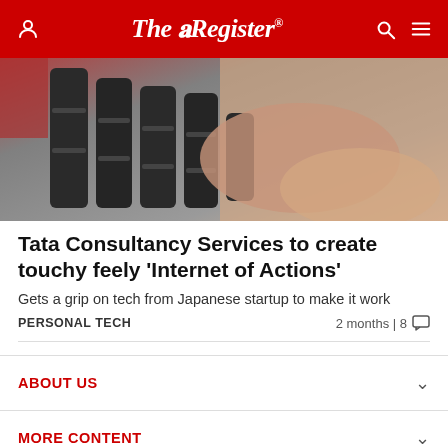The Register
[Figure (photo): Close-up photo of a robotic hand gripping a human hand, showing dark mechanical fingers with grey articulated joints against a blurred background]
Tata Consultancy Services to create touchy feely 'Internet of Actions'
Gets a grip on tech from Japanese startup to make it work
PERSONAL TECH   2 months | 8
ABOUT US
MORE CONTENT